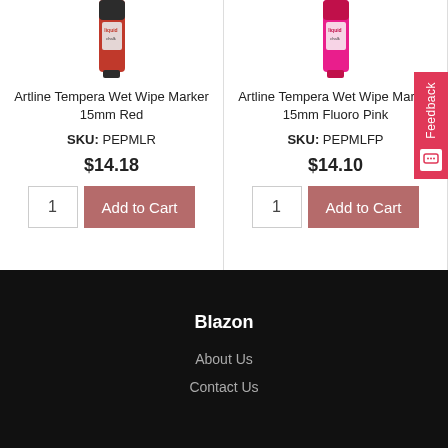[Figure (photo): Artline Tempera Wet Wipe Marker 15mm Red product image - red marker bottle]
Artline Tempera Wet Wipe Marker 15mm Red
SKU: PEPMLR
$14.18
[Figure (photo): Artline Tempera Wet Wipe Marker 15mm Fluoro Pink product image - pink marker bottle]
Artline Tempera Wet Wipe Marker 15mm Fluoro Pink
SKU: PEPMLFP
$14.10
Blazon
About Us
Contact Us